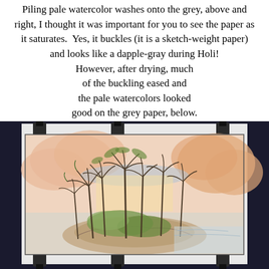Piling pale watercolor washes onto the grey, above and right, I thought it was important for you to see the paper as it saturates.  Yes, it buckles (it is a sketch-weight paper) and looks like a dapple-gray during Holi!  However, after drying, much of the buckling eased and the pale watercolors looked good on the grey paper, below.
[Figure (photo): A watercolor painting of a tropical island scene with palm trees, mounted on a dark background with binder clips visible at the top and bottom. The painting shows a warm peachy-orange sky, palm trees, and a rocky island with lush vegetation.]